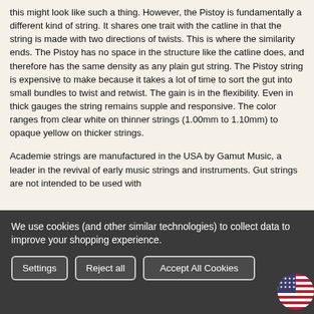this might look like such a thing. However, the Pistoy is fundamentally a different kind of string. It shares one trait with the catline in that the string is made with two directions of twists. This is where the similarity ends. The Pistoy has no space in the structure like the catline does, and therefore has the same density as any plain gut string. The Pistoy string is expensive to make because it takes a lot of time to sort the gut into small bundles to twist and retwist. The gain is in the flexibility. Even in thick gauges the string remains supple and responsive. The color ranges from clear white on thinner strings (1.00mm to 1.10mm) to opaque yellow on thicker strings.
Academie strings are manufactured in the USA by Gamut Music, a leader in the revival of early music strings and instruments. Gut strings are not intended to be used with
We use cookies (and other similar technologies) to collect data to improve your shopping experience.
Settings | Reject all | Accept All Cookies